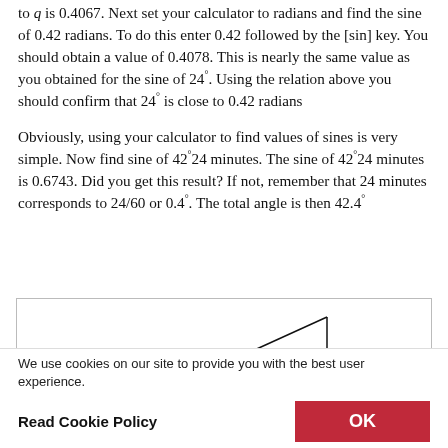to q is 0.4067. Next set your calculator to radians and find the sine of 0.42 radians. To do this enter 0.42 followed by the [sin] key. You should obtain a value of 0.4078. This is nearly the same value as you obtained for the sine of 24°. Using the relation above you should confirm that 24° is close to 0.42 radians
Obviously, using your calculator to find values of sines is very simple. Now find sine of 42°24 minutes. The sine of 42°24 minutes is 0.6743. Did you get this result? If not, remember that 24 minutes corresponds to 24/60 or 0.4°. The total angle is then 42.4°
[Figure (engineering-diagram): A right triangle diagram with a hypotenuse labeled '3cm' and a vertical right side labeled 'r', with a right angle marker at the bottom right corner.]
We use cookies on our site to provide you with the best user experience.
Read Cookie Policy
OK